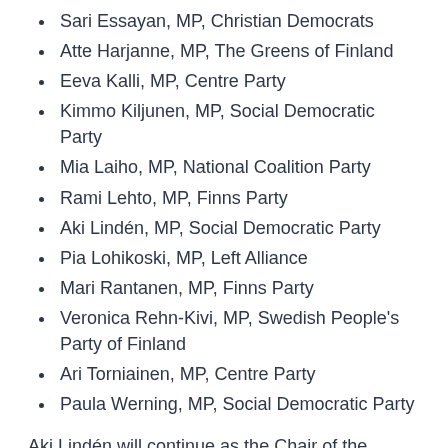Sari Essayan, MP, Christian Democrats
Atte Harjanne, MP, The Greens of Finland
Eeva Kalli, MP, Centre Party
Kimmo Kiljunen, MP, Social Democratic Party
Mia Laiho, MP, National Coalition Party
Rami Lehto, MP, Finns Party
Aki Lindén, MP, Social Democratic Party
Pia Lohikoski, MP, Left Alliance
Mari Rantanen, MP, Finns Party
Veronica Rehn-Kivi, MP, Swedish People's Party of Finland
Ari Torniainen, MP, Centre Party
Paula Werning, MP, Social Democratic Party
Aki Lindén will continue as the Chair of the Supervisory Board and Atte Harjanne as the Deputy Chair of the Supervisory Board.